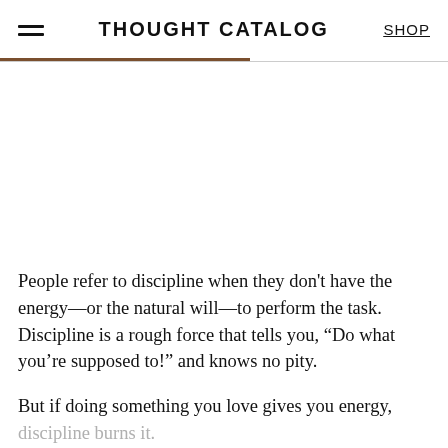THOUGHT CATALOG  SHOP
People refer to discipline when they don't have the energy—or the natural will—to perform the task. Discipline is a rough force that tells you, “Do what you’re supposed to!” and knows no pity.

But if doing something you love gives you energy, discipline burns it.